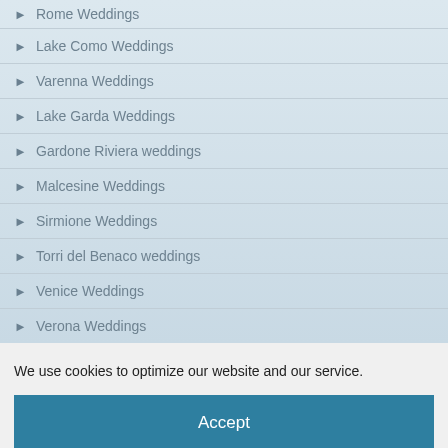Rome Weddings
Lake Como Weddings
Varenna Weddings
Lake Garda Weddings
Gardone Riviera weddings
Malcesine Weddings
Sirmione Weddings
Torri del Benaco weddings
Venice Weddings
Verona Weddings
We use cookies to optimize our website and our service.
Accept
Cookie Policy   Privacy Statement   Imprint